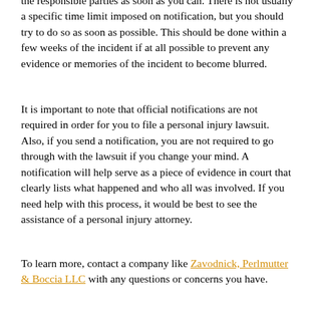the responsible parties as soon as you can. There is not usually a specific time limit imposed on notification, but you should try to do so as soon as possible. This should be done within a few weeks of the incident if at all possible to prevent any evidence or memories of the incident to become blurred.
It is important to note that official notifications are not required in order for you to file a personal injury lawsuit. Also, if you send a notification, you are not required to go through with the lawsuit if you change your mind. A notification will help serve as a piece of evidence in court that clearly lists what happened and who all was involved. If you need help with this process, it would be best to see the assistance of a personal injury attorney.
To learn more, contact a company like Zavodnick, Perlmutter & Boccia LLC with any questions or concerns you have.